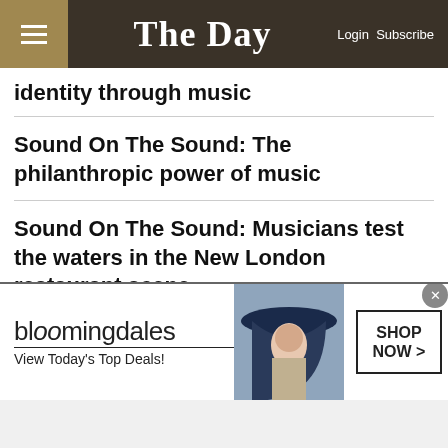The Day — Login Subscribe
identity through music
Sound On The Sound: The philanthropic power of music
Sound On The Sound: Musicians test the waters in the New London restaurant scene
[Figure (advertisement): Bloomingdale's advertisement: bloomingdales logo, View Today's Top Deals!, photo of woman in wide-brim navy hat, SHOP NOW > button]